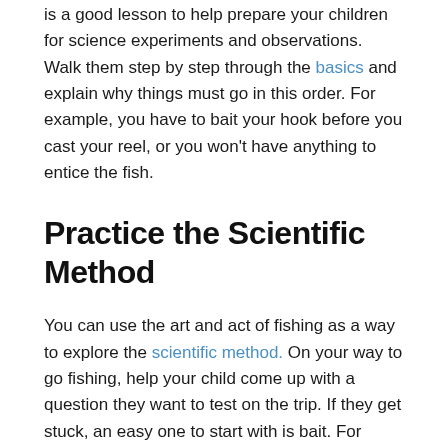is a good lesson to help prepare your children for science experiments and observations. Walk them step by step through the basics and explain why things must go in this order. For example, you have to bait your hook before you cast your reel, or you won't have anything to entice the fish.
Practice the Scientific Method
You can use the art and act of fishing as a way to explore the scientific method. On your way to go fishing, help your child come up with a question they want to test on the trip. If they get stuck, an easy one to start with is bait. For example, you could start with the question: do the fish prefer chicken gizzards or grubs? Come up with a hypothesis to test and how you will measure it. For example you can count how many fish you catch with certain bait. Or you could measure which type of bait gets the most bites. On the ride home you and your child can discuss the results and